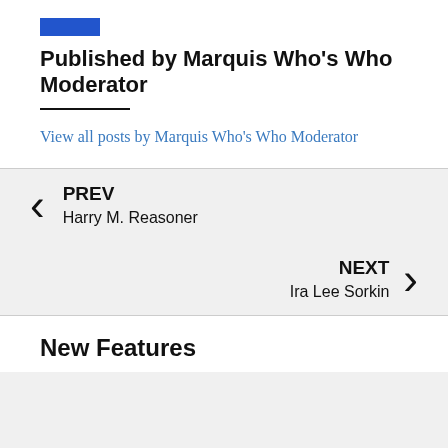[Figure (logo): Small blue logo/icon in top left]
Published by Marquis Who's Who Moderator
View all posts by Marquis Who's Who Moderator
PREV
Harry M. Reasoner
NEXT
Ira Lee Sorkin
New Features